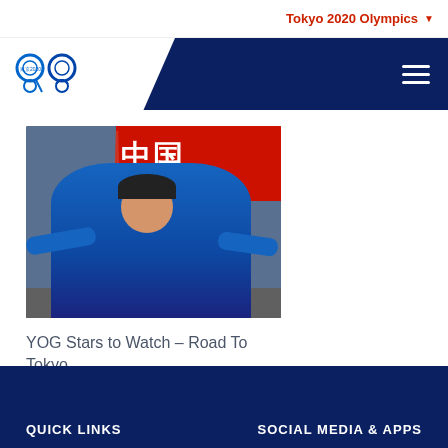Tokyo 2020 Olympics
[Figure (photo): Tokyo 2020 Olympics website navigation bar with logo]
[Figure (photo): Chinese table tennis athlete in blue jersey celebrating with arms spread, with red Chinese banner in background]
YOG Stars to Watch – Road To Tokyo
22 March 2019
QUICK LINKS    SOCIAL MEDIA & APPS